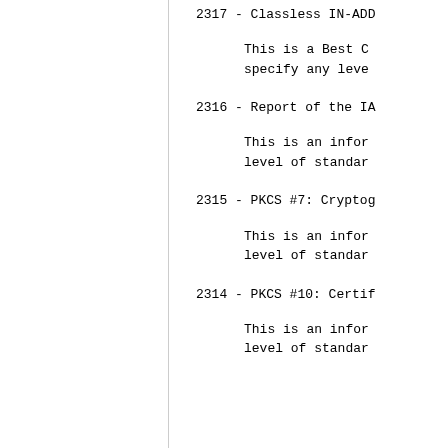2317 - Classless IN-ADD...
This is a Best C...
specify any leve...
2316 - Report of the IA...
This is an infor...
level of standar...
2315 - PKCS #7: Cryptog...
This is an infor...
level of standar...
2314 - PKCS #10: Certif...
This is an infor...
level of standar...